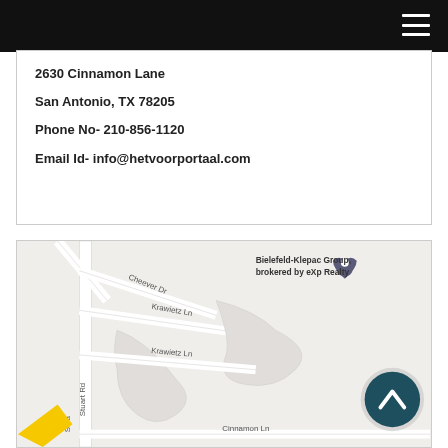2630 Cinnamon Lane
San Antonio, TX 78205
Phone No- 210-856-1120
Email Id- info@hetvoorportal.com
[Figure (map): Google Maps view showing streets: Cheever Dr, Krawietz Ln (x2), Stuart Rd, Cinnamon Ln, with a location pin labeled Bielefeld-Klepac Group, brokered by eXp Realty]